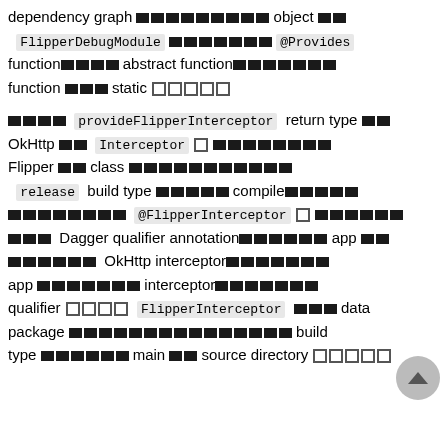dependency graph [redacted] object [redacted]
FlipperDebugModule [redacted] @Provides
function[redacted] abstract function[redacted]
function [redacted] static [redacted]
[redacted] provideFlipperInterceptor return type [redacted]
OkHttp [redacted] Interceptor □ [redacted]
Flipper [redacted] class [redacted]
release build type [redacted] compile[redacted]
[redacted] @FlipperInterceptor □ [redacted]
[redacted] Dagger qualifier annotation[redacted] app [redacted]
[redacted] OkHttp interceptor[redacted]
app [redacted] interceptor[redacted]
qualifier □□□□ FlipperInterceptor [redacted] data
package [redacted] build
type [redacted] main [redacted] source directory □□□□□